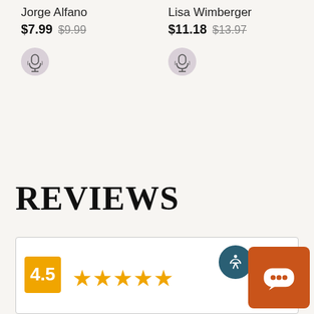Jorge Alfano
$7.99 $9.99
[Figure (illustration): Microphone icon in a circular gray badge]
Lisa Wimberger
$11.18 $13.97
[Figure (illustration): Microphone icon in a circular gray badge]
REVIEWS
[Figure (illustration): Review section bottom bar with orange rating badge, 5 stars, accessibility button, and chat button]